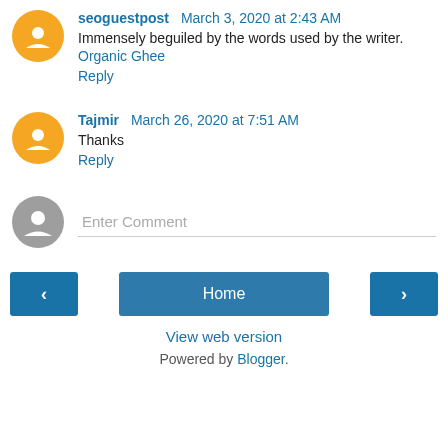seoguestpost March 3, 2020 at 2:43 AM
Immensely beguiled by the words used by the writer.
Organic Ghee
Reply
Tajmir March 26, 2020 at 7:51 AM
Thanks
Reply
Enter Comment
Home
View web version
Powered by Blogger.